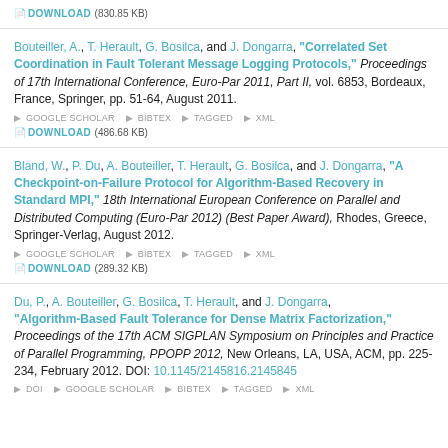DOWNLOAD (830.85 KB)
Bouteiller, A., T. Herault, G. Bosilca, and J. Dongarra, "Correlated Set Coordination in Fault Tolerant Message Logging Protocols," Proceedings of 17th International Conference, Euro-Par 2011, Part II, vol. 6853, Bordeaux, France, Springer, pp. 51-64, August 2011. GOOGLE SCHOLAR BIBTEX TAGGED XML DOWNLOAD (486.68 KB)
Bland, W., P. Du, A. Bouteiller, T. Herault, G. Bosilca, and J. Dongarra, "A Checkpoint-on-Failure Protocol for Algorithm-Based Recovery in Standard MPI," 18th International European Conference on Parallel and Distributed Computing (Euro-Par 2012) (Best Paper Award), Rhodes, Greece, Springer-Verlag, August 2012. GOOGLE SCHOLAR BIBTEX TAGGED XML DOWNLOAD (289.32 KB)
Du, P., A. Bouteiller, G. Bosilca, T. Herault, and J. Dongarra, "Algorithm-Based Fault Tolerance for Dense Matrix Factorization," Proceedings of the 17th ACM SIGPLAN Symposium on Principles and Practice of Parallel Programming, PPOPP 2012, New Orleans, LA, USA, ACM, pp. 225-234, February 2012. DOI: 10.1145/2145816.2145845 DOI GOOGLE SCHOLAR BIBTEX TAGGED XML